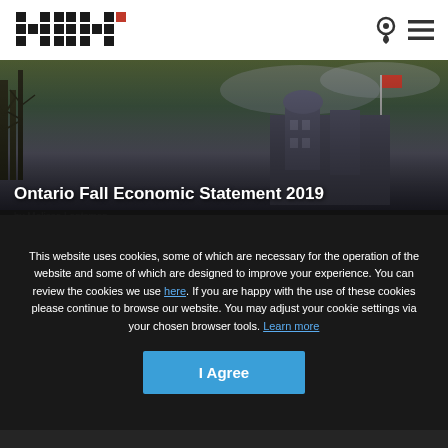HKA logo with navigation icons
[Figure (photo): Ontario Legislative Building exterior with autumn trees and flag, dark moody sky]
Ontario Fall Economic Statement 2019
by Melissa Lantsman
Vice-President, Public Affairs
November 6, 2019
This website uses cookies, some of which are necessary for the operation of the website and some of which are designed to improve your experience. You can review the cookies we use here. If you are happy with the use of these cookies please continue to browse our website. You may adjust your cookie settings via your chosen browser tools. Learn more
I Agree